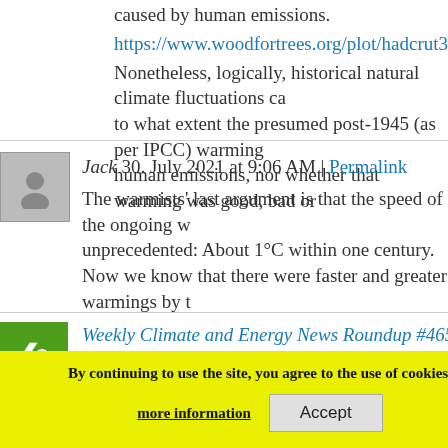caused by human emissions.
https://www.woodfortrees.org/plot/hadcrut3gl/from:1900/plot/
Nonetheless, logically, historical natural climate fluctuations can tell us to what extent the presumed post-1945 (as per IPCC) warming was caused by human emissions, nor whether that warming was good, bad or
Jack 30. July 2021 at 9:06 AM | Permalink
The warmists' last argument is that the speed of the ongoing w unprecedented: About 1°C within one century. Now we know that there were faster and greater warmings by t
Weekly Climate and Energy News Roundup #465 – Watt
August 2021 at 11:01 AM | Permalink
[...] There al Many Times Faster Modern During The Last Glacial [...]
By continuing to use the site, you agree to the use of cookies.
more information
Accept